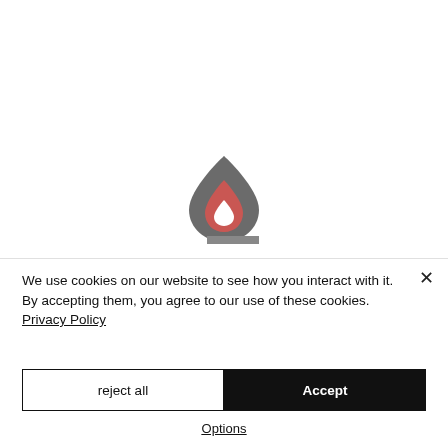[Figure (logo): Flame/droplet logo icon in dark gray and red/coral colors with a horizontal gray bar at the base]
We use cookies on our website to see how you interact with it. By accepting them, you agree to our use of these cookies. Privacy Policy
reject all
Accept
Options